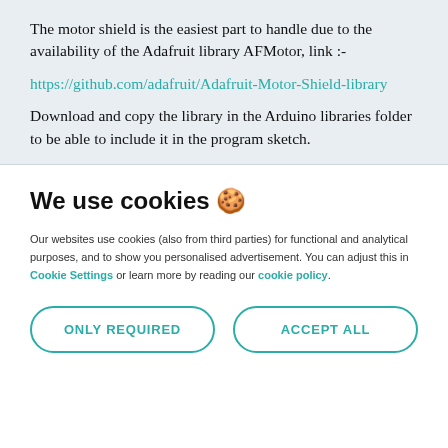The motor shield is the easiest part to handle due to the availability of the Adafruit library AFMotor, link :-
https://github.com/adafruit/Adafruit-Motor-Shield-library
Download and copy the library in the Arduino libraries folder to be able to include it in the program sketch.
We use cookies 🍪
Our websites use cookies (also from third parties) for functional and analytical purposes, and to show you personalised advertisement. You can adjust this in Cookie Settings or learn more by reading our cookie policy.